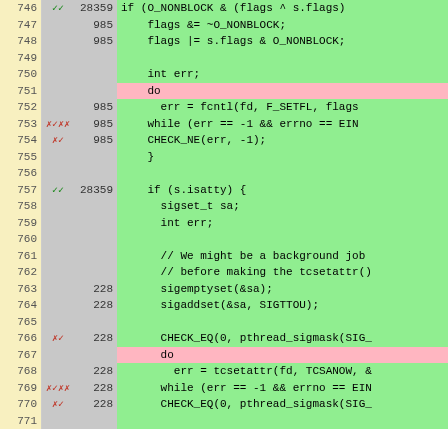[Figure (screenshot): Code coverage viewer showing C++ source lines 746-771 with line numbers, coverage markers (checkmarks/x marks), hit counts, and syntax-highlighted code. Green background = covered, pink = not covered, gray = no data.]